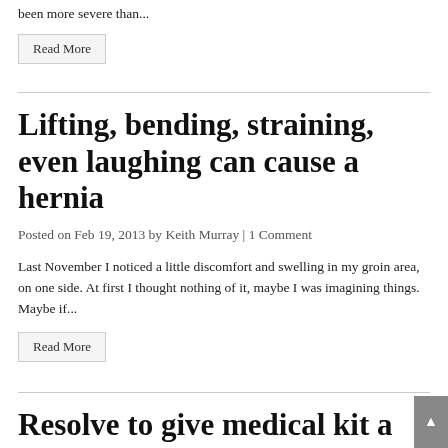been more severe than...
Read More
Lifting, bending, straining, even laughing can cause a hernia
Posted on Feb 19, 2013 by Keith Murray | 1 Comment
Last November I noticed a little discomfort and swelling in my groin area, on one side. At first I thought nothing of it, maybe I was imagining things. Maybe if...
Read More
Resolve to give medical kit a check up